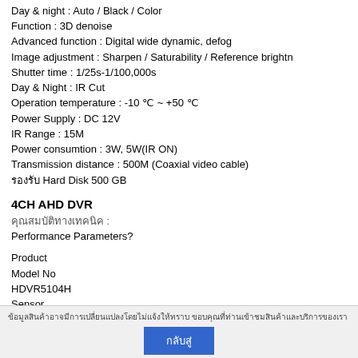Day & night : Auto / Black / Color
Function : 3D denoise
Advanced function : Digital wide dynamic, defog
Image adjustment : Sharpen / Saturability / Reference brightn…
Shutter time : 1/25s-1/100,000s
Day & Night : IR Cut
Operation temperature : -10 ℃ ~ +50 ℃
Power Supply : DC 12V
IR Range : 15M
Power consumtion : 3W, 5W(IR ON)
Transmission distance : 500M (Coaxial video cable)
รองรับ Hard Disk 500 GB
4CH AHD DVR
คุณสมบัติทางเทคนิค :
Performance Parameters?
Product
Model No
HDVR5104H
Sensor
ข้อมูลสินค้าอาจมีการเปลี่ยนแปลงโดยไม่แจ้งให้ทราบ ขอบคุณที่ท่านเข้าชมสินค้าและบริการของเรา